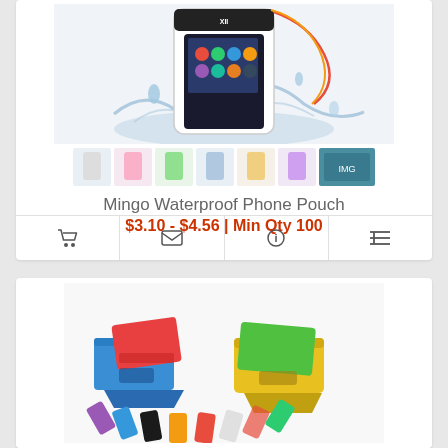[Figure (photo): Mingo Waterproof Phone Pouch product image showing a smartphone in a clear waterproof case with water splash, with color variant thumbnails below]
Mingo Waterproof Phone Pouch
$3.10 - $4.56 | Min Qty 100
[Figure (photo): Colorful foldable phone/tablet stands in multiple colors shown from two angles]